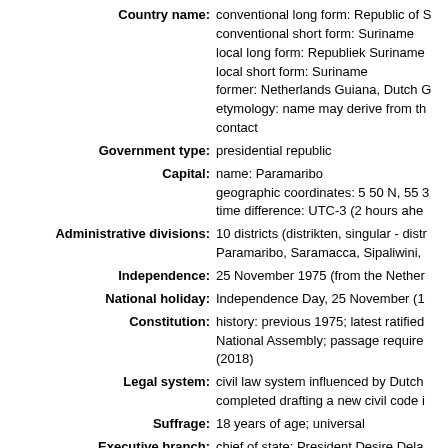Country name: conventional long form: Republic of Suriname; conventional short form: Suriname; local long form: Republiek Suriname; local short form: Suriname; former: Netherlands Guiana, Dutch Guiana; etymology: name may derive from contact
Government type: presidential republic
Capital: name: Paramaribo; geographic coordinates: 5 50 N, 55; time difference: UTC-3 (2 hours ahe
Administrative divisions: 10 districts (distrikten, singular - distr; Paramaribo, Saramacca, Sipaliwini,
Independence: 25 November 1975 (from the Nether
National holiday: Independence Day, 25 November (1
Constitution: history: previous 1975; latest ratified; National Assembly; passage require; (2018)
Legal system: civil law system influenced by Dutch; completed drafting a new civil code i
Suffrage: 18 years of age; universal
Executive branch: chief of state: President Desire Dela; 12 August 2015); note - the presider; head of government: President Desi; (since 12 August 2015); cabinet: Cabinet of Ministers appo